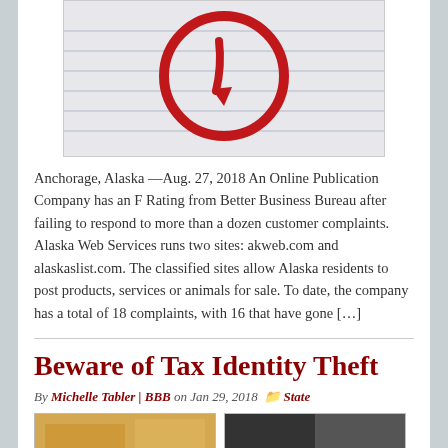[Figure (photo): Partial image showing a red circle/prohibition sign drawn on a lined paper background, possibly depicting a BBB rating graphic.]
Anchorage, Alaska —Aug. 27, 2018 An Online Publication Company has an F Rating from Better Business Bureau after failing to respond to more than a dozen customer complaints.   Alaska Web Services runs two sites: akweb.com and alaskaslist.com. The classified sites allow Alaska residents to post products, services or animals for sale. To date, the company has a total of 18 complaints, with 16 that have gone […]
Beware of Tax Identity Theft
By Michelle Tabler | BBB on Jan 29, 2018  State
[Figure (photo): Two partial thumbnail images at the bottom of the page — a warm-toned image on the left and a dark image on the right.]